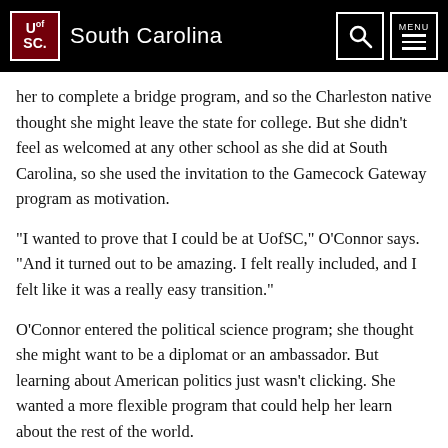UofSC South Carolina
her to complete a bridge program, and so the Charleston native thought she might leave the state for college. But she didn’t feel as welcomed at any other school as she did at South Carolina, so she used the invitation to the Gamecock Gateway program as motivation.
“I wanted to prove that I could be at UofSC,” O’Connor says. “And it turned out to be amazing. I felt really included, and I felt like it was a really easy transition.”
O’Connor entered the political science program; she thought she might want to be a diplomat or an ambassador. But learning about American politics just wasn’t clicking. She wanted a more flexible program that could help her learn about the rest of the world.